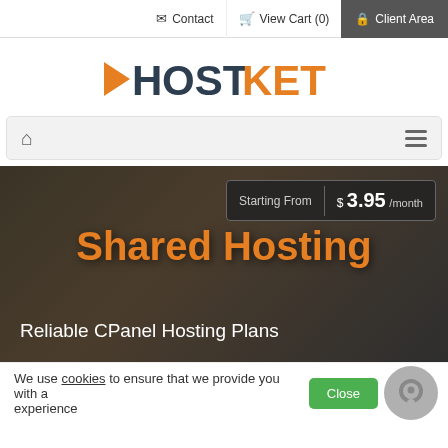Contact | View Cart (0) | Client Area
[Figure (logo): HOSTKET logo with orange arrow and dark/orange typography]
[Figure (screenshot): Navigation bar with home icon and hamburger menu]
Starting From $ 3.95 /month
Shared Hosting
Reliable CPanel Hosting Plans
We use cookies to ensure that we provide you with a experience
Close